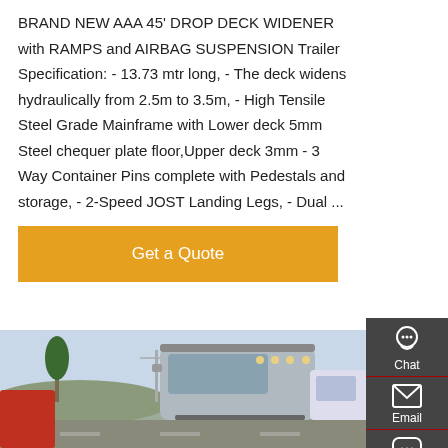BRAND NEW AAA 45' DROP DECK WIDENER with RAMPS and AIRBAG SUSPENSION Trailer Specification: - 13.73 mtr long, - The deck widens hydraulically from 2.5m to 3.5m, - High Tensile Steel Grade Mainframe with Lower deck 5mm Steel chequer plate floor,Upper deck 3mm - 3 Way Container Pins complete with Pedestals and storage, - 2-Speed JOST Landing Legs, - Dual ...
[Figure (other): Get a Quote button (orange/amber background, white text)]
[Figure (photo): Photo of a silver truck/semi-truck on a road with trees and mountains in background, additional white truck visible on right]
[Figure (infographic): Sidebar with Chat (headset icon), Email (envelope icon), Contact (speech bubble icon), and Top (arrow up icon) buttons on dark gray background]